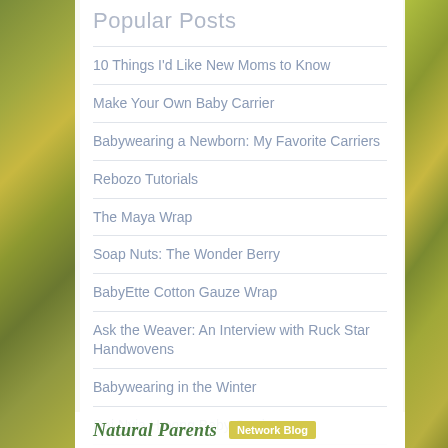Popular Posts
10 Things I'd Like New Moms to Know
Make Your Own Baby Carrier
Babywearing a Newborn: My Favorite Carriers
Rebozo Tutorials
The Maya Wrap
Soap Nuts: The Wonder Berry
BabyEtte Cotton Gauze Wrap
Ask the Weaver: An Interview with Ruck Star Handwovens
Babywearing in the Winter
Dai Nyia Hmong Baby Carrier
Natural Parents